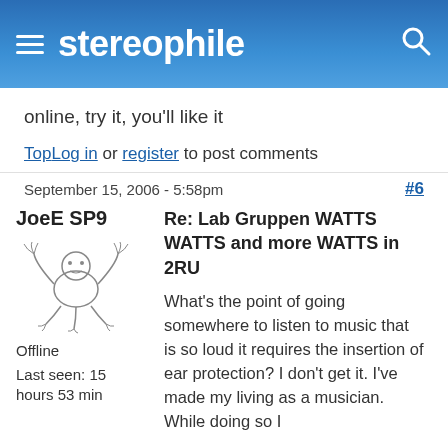stereophile
online, try it, you'll like it
Top   Log in or register to post comments
September 15, 2006 - 5:58pm   #6
JoeE SP9
[Figure (illustration): Hand-drawn sketch of a figure (dog or animal) in a playful pose]
Offline
Last seen: 15 hours 53 min
Re: Lab Gruppen WATTS WATTS and more WATTS in 2RU
What's the point of going somewhere to listen to music that is so loud it requires the insertion of ear protection? I don't get it. I've made my living as a musician. While doing so I